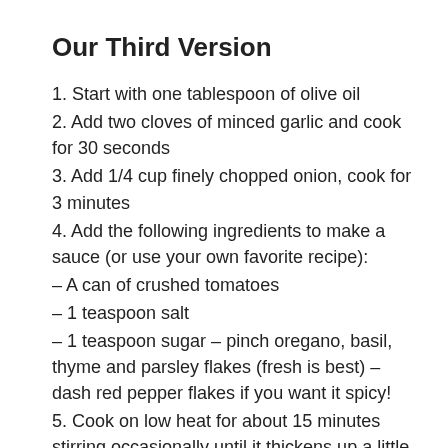Our Third Version
1. Start with one tablespoon of olive oil
2. Add two cloves of minced garlic and cook for 30 seconds
3. Add 1/4 cup finely chopped onion, cook for 3 minutes
4. Add the following ingredients to make a sauce (or use your own favorite recipe):
– A can of crushed tomatoes
– 1 teaspoon salt
– 1 teaspoon sugar – pinch oregano, basil, thyme and parsley flakes (fresh is best) – dash red pepper flakes if you want it spicy!
5. Cook on low heat for about 15 minutes stirring occasionally until it thickens up a little bit more than when you started cooking it, then serve over